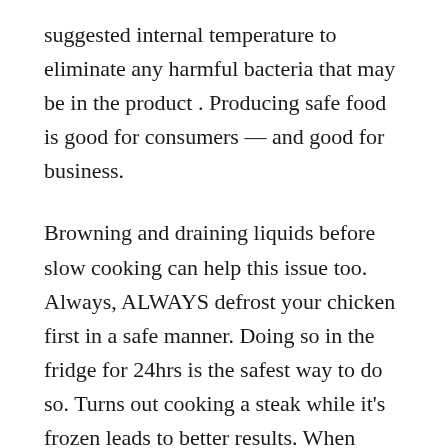suggested internal temperature to eliminate any harmful bacteria that may be in the product . Producing safe food is good for consumers — and good for business.
Browning and draining liquids before slow cooking can help this issue too. Always, ALWAYS defrost your chicken first in a safe manner. Doing so in the fridge for 24hrs is the safest way to do so. Turns out cooking a steak while it's frozen leads to better results. When cooking a frozen steak, do not defrost it first for better results.
I have made better breasts using other recipes. Prepped completely and left sheet pan in fridge until ready to cook. Or, refrigerate in a sealed container for up to 3